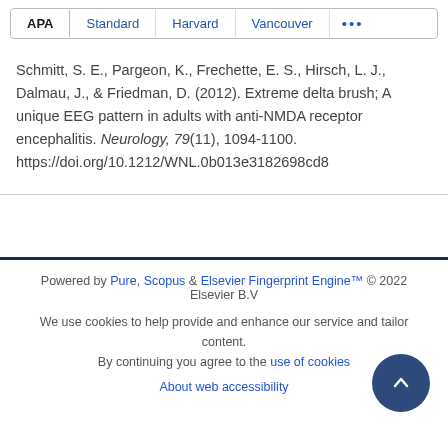APA | Standard | Harvard | Vancouver | ...
Schmitt, S. E., Pargeon, K., Frechette, E. S., Hirsch, L. J., Dalmau, J., & Friedman, D. (2012). Extreme delta brush; A unique EEG pattern in adults with anti-NMDA receptor encephalitis. Neurology, 79(11), 1094-1100. https://doi.org/10.1212/WNL.0b013e3182698cd8
Powered by Pure, Scopus & Elsevier Fingerprint Engine™ © 2022 Elsevier B.V
We use cookies to help provide and enhance our service and tailor content. By continuing you agree to the use of cookies
About web accessibility